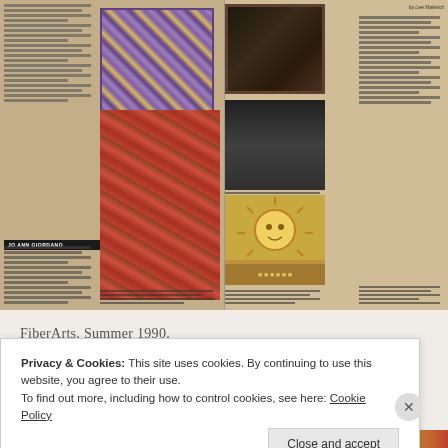[Figure (photo): A scanned magazine spread from FiberArts Summer 1990, showing fiber art pieces including a mosaic-framed artwork, a patterned garment/cape in red tones, photos of an artist working at a loom, a decorative sun artwork, and framed folk-art pieces. Text columns describe artists including Jo Ann Giordano, with a byline 'by Lee Malerich'.]
FiberArts. Summer 1990.
Privacy & Cookies: This site uses cookies. By continuing to use this website, you agree to their use.
To find out more, including how to control cookies, see here: Cookie Policy